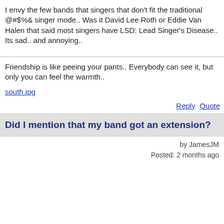I envy the few bands that singers that don't fit the traditional @#$%& singer mode.. Was it David Lee Roth or Eddie Van Halen that said most singers have LSD: Lead Singer's Disease.. Its sad.. and annoying..
Friendship is like peeing your pants.. Everybody can see it, but only you can feel the warmth..
south.jpg
Reply Quote
Did I mention that my band got an extension?
by JamesJM
Posted: 2 months ago